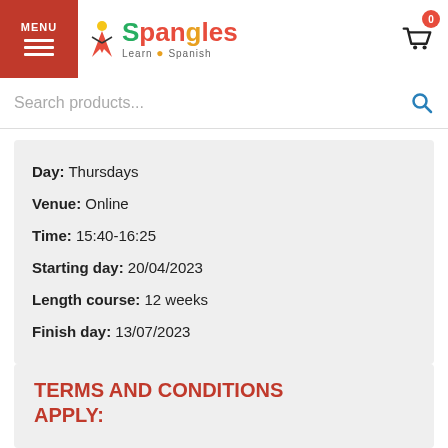MENU | Spangles Learn Spanish | Cart (0)
Search products...
Day: Thursdays
Venue: Online
Time: 15:40-16:25
Starting day: 20/04/2023
Length course: 12 weeks
Finish day: 13/07/2023
TERMS AND CONDITIONS APPLY: